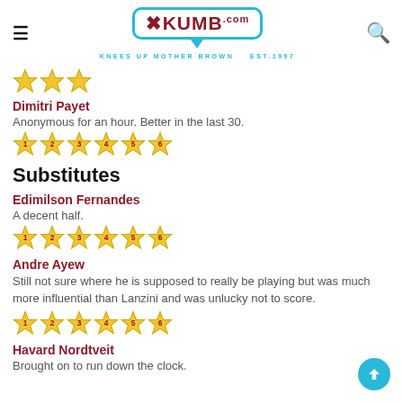XKUMB.com — KNEES UP MOTHER BROWN — EST.1997
[Figure (other): Partial star rating row visible at top of page]
Dimitri Payet
Anonymous for an hour. Better in the last 30.
[Figure (other): Star rating 1-6 for Dimitri Payet]
Substitutes
Edimilson Fernandes
A decent half.
[Figure (other): Star rating 1-6 for Edimilson Fernandes]
Andre Ayew
Still not sure where he is supposed to really be playing but was much more influential than Lanzini and was unlucky not to score.
[Figure (other): Star rating 1-6 for Andre Ayew]
Havard Nordtveit
Brought on to run down the clock.